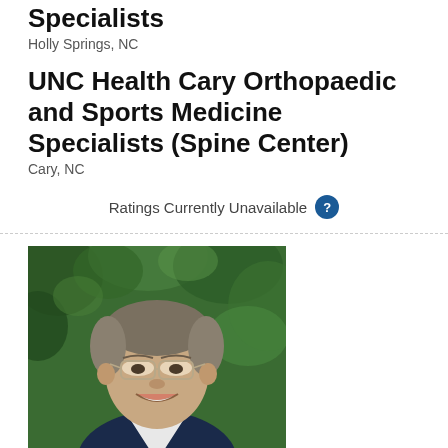Orthopaedic and Sports Medicine Specialists
Holly Springs, NC
UNC Health Cary Orthopaedic and Sports Medicine Specialists (Spine Center)
Cary, NC
Ratings Currently Unavailable ?
[Figure (photo): Professional headshot of a middle-aged male doctor with gray-brown hair, wearing glasses, a dark suit jacket, and white shirt, smiling, with green foliage in the background.]